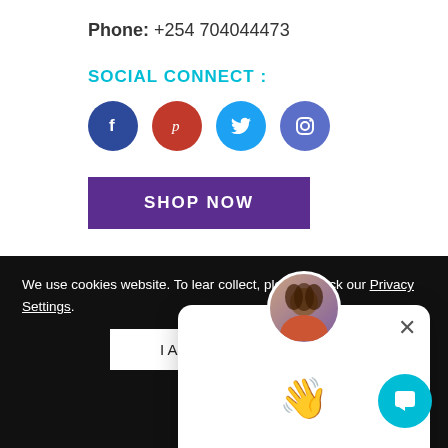Phone: +254 704044473
SOCIAL CONNECT :
[Figure (infographic): Four social media icons: Facebook (blue circle with f), Pinterest (red circle with p), Twitter (light blue circle with bird), Instagram (blue-purple circle with camera outline)]
SHOP NOW
[Figure (photo): Circular avatar photo of a woman with curly hair]
× (close button)
👋 (waving hand emoji)
We use cookies website. To lear collect, please check our Privacy Settings.
I Accept
[Figure (infographic): Cyan circular chat button with white chat icon in bottom right corner]